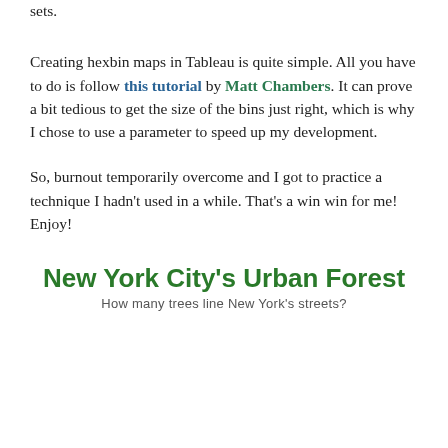sets.
Creating hexbin maps in Tableau is quite simple. All you have to do is follow this tutorial by Matt Chambers. It can prove a bit tedious to get the size of the bins just right, which is why I chose to use a parameter to speed up my development.
So, burnout temporarily overcome and I got to practice a technique I hadn't used in a while. That's a win win for me! Enjoy!
New York City’s Urban Forest
How many trees line New York’s streets?
[Figure (map): Hexbin map of New York City showing tree density by borough, rendered in varying shades of green hexagons forming the shape of NYC boroughs.]